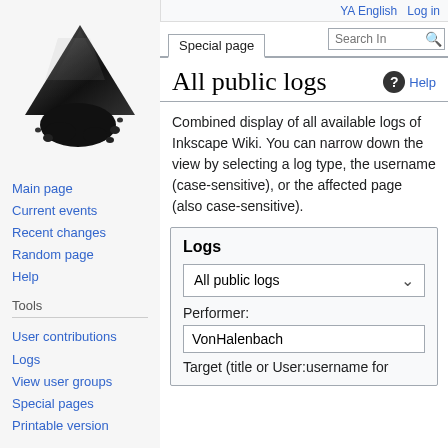English  Log in
[Figure (logo): Inkscape logo: black ink drop spilled from a triangle/diamond shape with small droplets around it]
Main page
Current events
Recent changes
Random page
Help
Tools
User contributions
Logs
View user groups
Special pages
Printable version
All public logs
Combined display of all available logs of Inkscape Wiki. You can narrow down the view by selecting a log type, the username (case-sensitive), or the affected page (also case-sensitive).
Logs
All public logs
Performer:
VonHalenbach
Target (title or User:username for